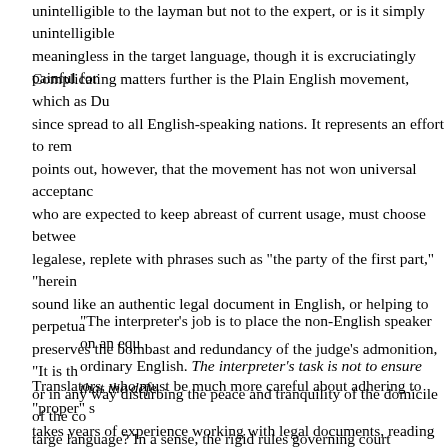unintelligible to the layman but not to the expert, or is it simply unintelligible meaningless in the target language, though it is excruciatingly painful for
Complicating matters further is the Plain English movement, which as Du since spread to all English-speaking nations. It represents an effort to rem points out, however, that the movement has not won universal acceptance who are expected to keep abreast of current usage, must choose between legalese, replete with phrases such as "the party of the first part," "herein sound like an authentic legal document in English, or helping to perpetua preserves the bombast and redundancy of the judge's admonition, "It is th or in any way disturbing the peace and tranquility of the domicile of the co targe language? In a sense, the rigid rules governing court interpreters m their hands:
"The interpreter's job is to place the non-English speaker on an equ ordinary English. The interpreter's task is not to ensure that the defe
Translators, who must be much more careful about adhering to "proper" s takes years of experience working with legal documents, reading legal te legal professionals and the lay public to develop a sense of current, prop and instinct in deciding how much to manipulate the style of a text.